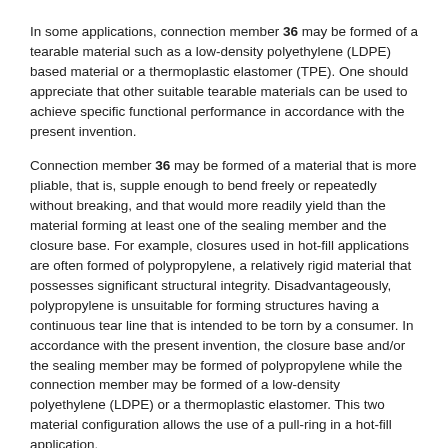In some applications, connection member 36 may be formed of a tearable material such as a low-density polyethylene (LDPE) based material or a thermoplastic elastomer (TPE). One should appreciate that other suitable tearable materials can be used to achieve specific functional performance in accordance with the present invention.
Connection member 36 may be formed of a material that is more pliable, that is, supple enough to bend freely or repeatedly without breaking, and that would more readily yield than the material forming at least one of the sealing member and the closure base. For example, closures used in hot-fill applications are often formed of polypropylene, a relatively rigid material that possesses significant structural integrity. Disadvantageously, polypropylene is unsuitable for forming structures having a continuous tear line that is intended to be torn by a consumer. In accordance with the present invention, the closure base and/or the sealing member may be formed of polypropylene while the connection member may be formed of a low-density polyethylene (LDPE) or a thermoplastic elastomer. This two material configuration allows the use of a pull-ring in a hot-fill application.
Connection member 36 connects and joins membrane 62 of sealing member 35 to annular ring 58 of closure base 34 in such a way that the connection member does not integrally bond to at least one of the sealing member and the closure base, namely, the component is formed of the